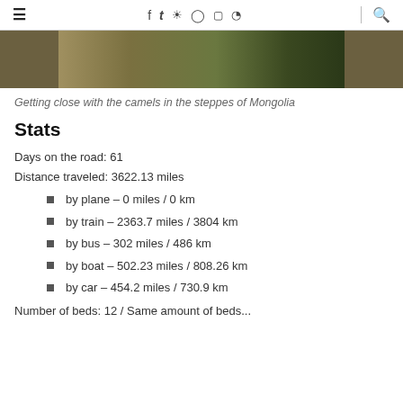≡   f  t  [instagram]  [pinterest]  [vimeo]  [rss]   🔍
[Figure (photo): Partial photo of camels in the steppes of Mongolia, brown and green landscape]
Getting close with the camels in the steppes of Mongolia
Stats
Days on the road: 61
Distance traveled: 3622.13 miles
by plane – 0 miles / 0 km
by train – 2363.7 miles / 3804 km
by bus – 302 miles / 486 km
by boat – 502.23 miles / 808.26 km
by car – 454.2 miles / 730.9 km
Number of beds: 12 / Same amount of beds...